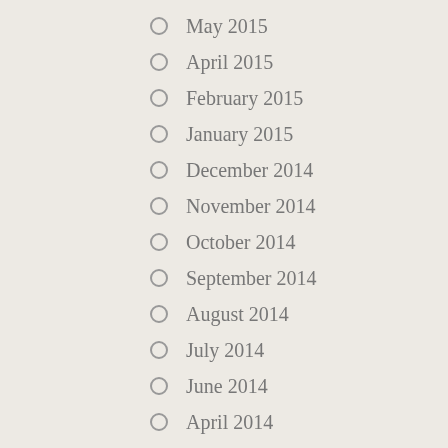May 2015
April 2015
February 2015
January 2015
December 2014
November 2014
October 2014
September 2014
August 2014
July 2014
June 2014
April 2014
February 2014
January 2014